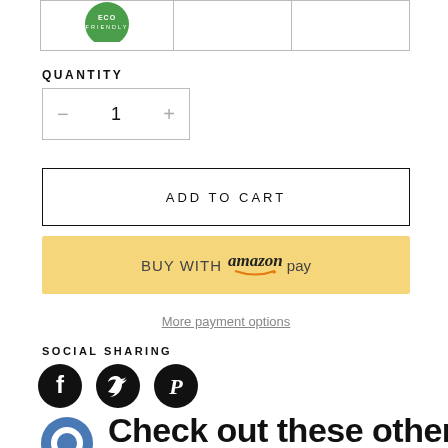[Figure (other): Green eco-friendly logo badge at top]
QUANTITY
1
ADD TO CART
BUY WITH amazon pay
More payment options
SOCIAL SHARING
[Figure (other): Social sharing icons: Facebook, Twitter, Pinterest, and a messaging/chat icon]
Check out these other